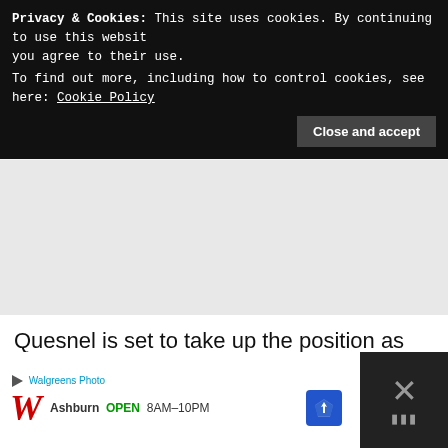Privacy & Cookies: This site uses cookies. By continuing to use this website, you agree to their use.
To find out more, including how to control cookies, see here: Cookie Policy
[Figure (other): Gray advertisement placeholder area]
Quesnel is set to take up the position as Sporting Director, but is also expected to take over many tasks of a team principal.
[Figure (other): Walgreens Photo advertisement banner at bottom. Shows Walgreens W logo, 'Ashburn OPEN 8AM-10PM', map/directions icon, and close button.]